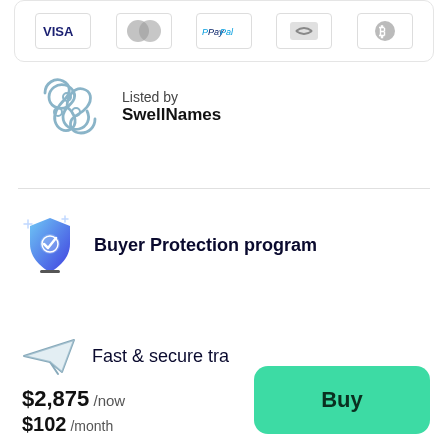[Figure (illustration): Payment method icons: Visa, Mastercard, PayPal, Afterpay/Klarna, Bitcoin inside a rounded card box]
Listed by
SwellNames
[Figure (logo): SwellNames triple swirl logo in light blue/gray]
[Figure (illustration): Buyer Protection program shield icon with checkmark, blue gradient]
Buyer Protection program
[Figure (illustration): Paper plane / fast transfer icon]
$2,875 /now
$102 /month
Buy